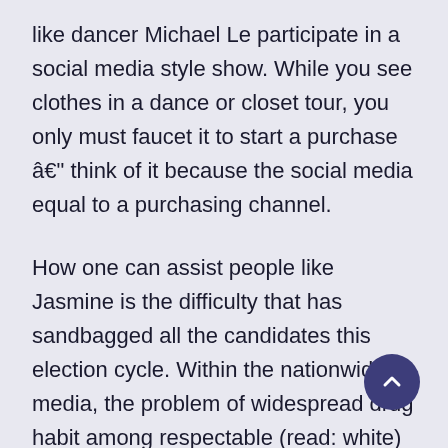like dancer Michael Le participate in a social media style show. While you see clothes in a dance or closet tour, you only must faucet it to start a purchase â€" think of it because the social media equal to a purchasing channel.
How one can assist people like Jasmine is the difficulty that has sandbagged all the candidates this election cycle. Within the nationwide media, the problem of widespread drug habit among respectable (read: white) people emerged seemingly out of nowhere, and now it piles up more our bodies day-after-day than driving fatalities. However the heroins,â€™ as the